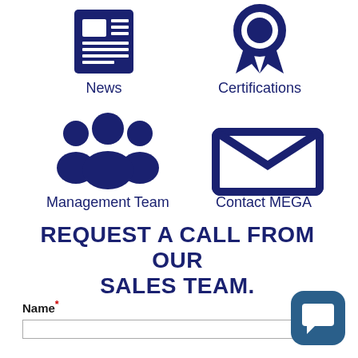[Figure (illustration): News icon (newspaper) in dark navy blue]
News
[Figure (illustration): Certifications icon (award ribbon) in dark navy blue]
Certifications
[Figure (illustration): Management Team icon (group of people) in dark navy blue]
Management Team
[Figure (illustration): Contact MEGA icon (envelope/email) in dark navy blue]
Contact MEGA
REQUEST A CALL FROM OUR SALES TEAM.
Name*